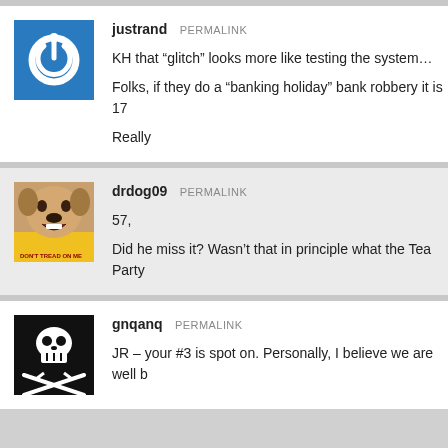[Figure (illustration): Blue square avatar with white power button icon]
justrand PERMALINK
KH that “glitch” looks more like testing the system…

Folks, if they do a “banking holiday” bank robbery it is 17

Really
[Figure (photo): Dog avatar on Don't Tread On Me yellow flag background]
drdog09 PERMALINK
57,

Did he miss it? Wasn’t that in principle what the Tea Party
[Figure (illustration): Pirate flag (Jolly Roger) with skull and crossed swords on black background]
gnqanq PERMALINK
JR – your #3 is spot on. Personally, I believe we are well b